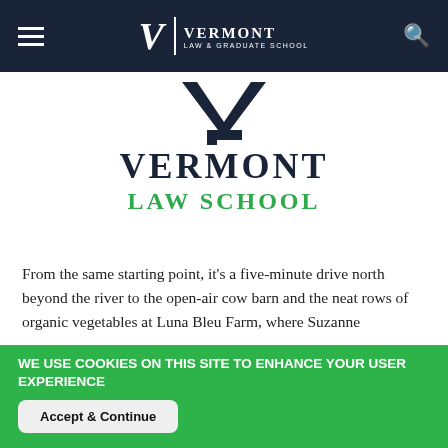Vermont Law & Graduate School navigation bar
[Figure (logo): Vermont Law & Graduate School logo with large V mark and school name in dark navy and green]
From the same starting point, it's a five-minute drive north beyond the river to the open-air cow barn and the neat rows of organic vegetables at Luna Bleu Farm, where Suzanne
WE USE COOKIES ON THIS SITE TO ENHANCE YOUR USER EXPERIENCE
By continuing to use this site, we will assume you agree with our use of cookies and other technology as described in our Privacy Policy.
Accept & Continue